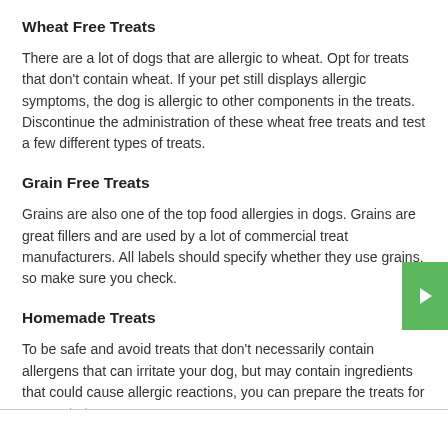Wheat Free Treats
There are a lot of dogs that are allergic to wheat. Opt for treats that don't contain wheat. If your pet still displays allergic symptoms, the dog is allergic to other components in the treats. Discontinue the administration of these wheat free treats and test a few different types of treats.
Grain Free Treats
Grains are also one of the top food allergies in dogs. Grains are great fillers and are used by a lot of commercial treat manufacturers. All labels should specify whether they use grains, so make sure you check.
Homemade Treats
To be safe and avoid treats that don't necessarily contain allergens that can irritate your dog, but may contain ingredients that could cause allergic reactions, you can prepare the treats for your pet at